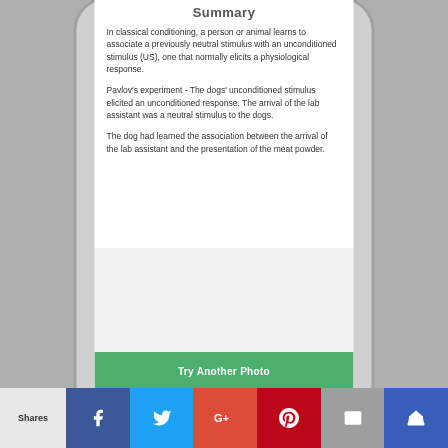Summary
In classical conditioning, a person or animal learns to associate a previously neutral stimulus with an unconditioned stimulus (US), one that normally elicits a physiological response.
Pavlov’s experiment - The dogs’ unconditioned stimulus elicited an unconditioned response. The arrival of the lab assistant was a neutral stimulus to the dogs.
The dog had learned the association between the arrival of the lab assistant and the presentation of the meat powder.
Try Another Photo
Shares